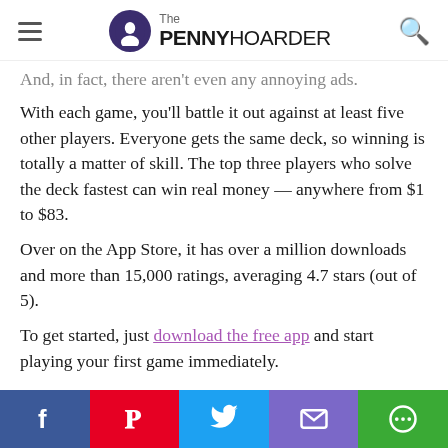The PENNY HOARDER
And, in fact, there aren't even any annoying ads.
With each game, you'll battle it out against at least five other players. Everyone gets the same deck, so winning is totally a matter of skill. The top three players who solve the deck fastest can win real money — anywhere from $1 to $83.
Over on the App Store, it has over a million downloads and more than 15,000 ratings, averaging 4.7 stars (out of 5).
To get started, just download the free app and start playing your first game immediately.
4. Let This Company Cut Your
Facebook Pinterest Twitter Email Chat